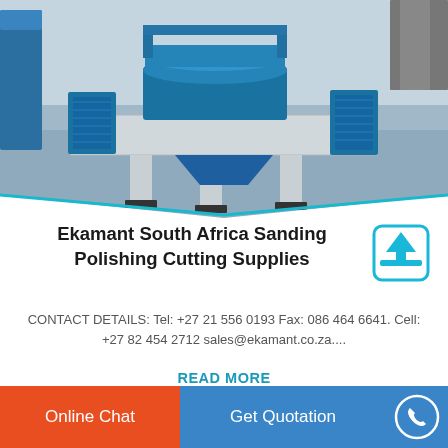[Figure (photo): Industrial blue crushing/grinding machine on a factory floor — a large vertical shaft impact crusher or similar equipment with blue metal body, wide circular platform, support legs, and industrial setting]
Ekamant South Africa Sanding Polishing Cutting Supplies
CONTACT DETAILS: Tel: +27 21 556 0193 Fax: 086 464 6641. Cell: +27 82 454 2712 sales@ekamant.co.za....
READ MORE
Online Chat
Get Quotation